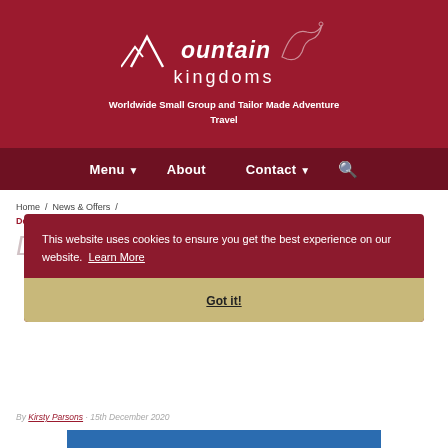[Figure (logo): Mountain Kingdoms logo - white mountain peak outline with dragon illustration and text 'mountain kingdoms' on dark red background]
Worldwide Small Group and Tailor Made Adventure Travel
Menu ▾  About  Contact ▾  🔍
Home / News & Offers / December enewsletter – 21 escapes for 2021
December enewsletter – 21 escapes for 2021
This website uses cookies to ensure you get the best experience on our website. Learn More
Got it!
By Kirsty Parsons · 15th December 2020